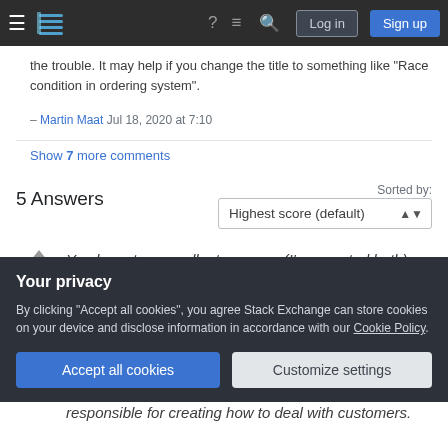Stack Exchange navigation bar with Log in and Sign up buttons
the trouble. It may help if you change the title to something like "Race condition in ordering system".
– Martin Maat Jul 18, 2020 at 7:10
Show 7 more comments
5 Answers
Sorted by: Highest score (default)
You have two excellent answers (I've upvoted both). But they each address only a part of the problem, and this is why I feel obliged to come with a third
Your privacy
By clicking "Accept all cookies", you agree Stack Exchange can store cookies on your device and disclose information in accordance with our Cookie Policy.
Accept all cookies  Customize settings